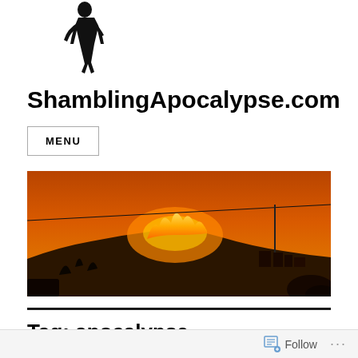[Figure (logo): Black silhouette of a standing human figure on white background]
ShamblingApocalypse.com
MENU
[Figure (photo): Wide panoramic photo of a wildfire burning across a hillside with orange glow in the sky, buildings and vegetation visible below]
Tag: apocalypse
Follow